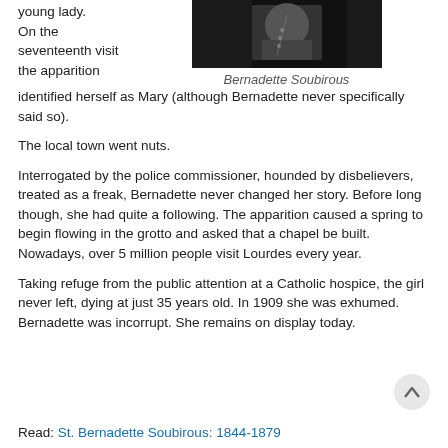young lady. On the seventeenth visit the apparition identified herself as Mary (although Bernadette never specifically said so).
[Figure (photo): Black and white photograph of Bernadette Soubirous]
Bernadette Soubirous
The local town went nuts.
Interrogated by the police commissioner, hounded by disbelievers, treated as a freak, Bernadette never changed her story. Before long though, she had quite a following. The apparition caused a spring to begin flowing in the grotto and asked that a chapel be built. Nowadays, over 5 million people visit Lourdes every year.
Taking refuge from the public attention at a Catholic hospice, the girl never left, dying at just 35 years old. In 1909 she was exhumed. Bernadette was incorrupt. She remains on display today.
Read: St. Bernadette Soubirous: 1844-1879